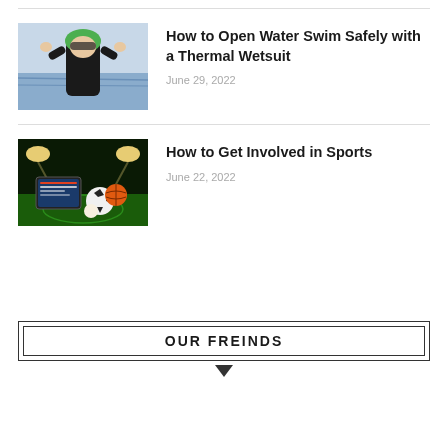[Figure (photo): Person in a dark wetsuit and green cap adjusting goggles, standing in front of water]
How to Open Water Swim Safely with a Thermal Wetsuit
June 29, 2022
[Figure (photo): Stadium scene with sports balls (soccer ball, basketball) on a green field with a tablet showing sports scores, bright stadium lights in background]
How to Get Involved in Sports
June 22, 2022
OUR FREINDS